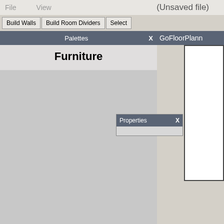File   View   (Unsaved file)
[Figure (screenshot): Application toolbar with buttons: Build Walls, Build Room Dividers, Select]
[Figure (screenshot): Palettes panel with header showing 'Palettes' and X close button, containing 'Furniture' title section and gray content area below]
[Figure (screenshot): Properties panel overlay with header 'Properties' and X close button, with light gray content area]
[Figure (screenshot): Right panel showing partial 'GoFloorPlann' text header in dark gray, with white canvas area below]